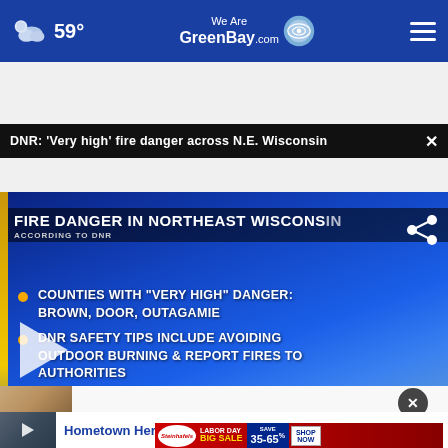59° WeAreGreenBay.com
DNR: 'Very high' fire danger across N.E. Wisconsin
[Figure (screenshot): News broadcast video still showing fire danger graphic with text: 'FIRE DANGER IN NORTHEAST WISCONSIN - ACCORDING TO DNR'. Bullet points: 'COUNTIES WITH "VERY HIGH" DANGER: BROWN, DOOR, OUTAGAMIE' and 'DNR SAFETY TIPS INCLUDE AVOIDING OUTDOOR BURNING & REPORT FIRES TO AUTHORITIES'. Blue/gold news graphic with play button overlay.]
Hometown Hero: Christa Coll...
Steinhafels LABOR DAY BIG SALE SAVE 35-65% SHOP NOW